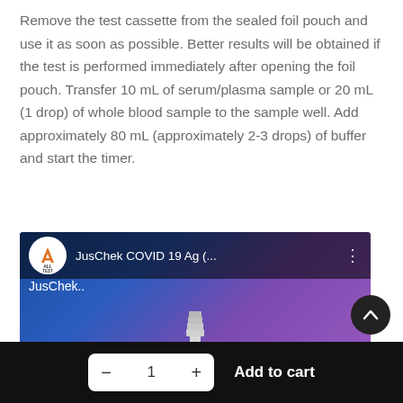Remove the test cassette from the sealed foil pouch and use it as soon as possible. Better results will be obtained if the test is performed immediately after opening the foil pouch. Transfer 10 mL of serum/plasma sample or 20 mL (1 drop) of whole blood sample to the sample well. Add approximately 80 mL (approximately 2-3 drops) of buffer and start the timer.
[Figure (screenshot): Video thumbnail for 'JusChek COVID 19 Ag (...)' on the AllTest channel. Dark background with blue-purple gradient, showing an All Test logo circle, video title, three-dot menu, channel name 'JusChek..', and a thumbs-up graphic icon in the center.]